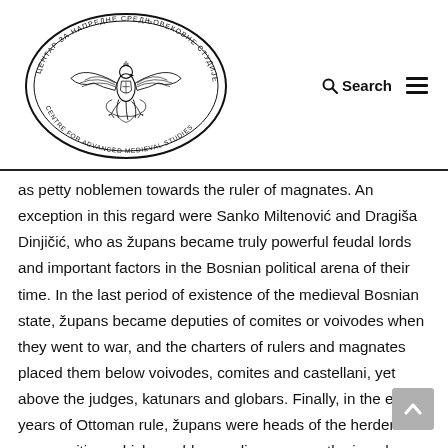[Figure (logo): Oval seal/logo of Centre for Advanced Medieval Studies with Cyrillic text around the border and an eagle emblem in the center]
Search  ≡
as petty noblemen towards the ruler of magnates. An exception in this regard were Sanko Miltenović and Dragiša Dinjičić, who as župans became truly powerful feudal lords and important factors in the Bosnian political arena of their time. In the last period of existence of the medieval Bosnian state, župans became deputies of comites or voivodes when they went to war, and the charters of rulers and magnates placed them below voivodes, comites and castellani, yet above the judges, katunars and globars. Finally, in the early years of Ottoman rule, župans were heads of the herder communities, which would soon disappear as the invaders consolidated their grip of power over Bosnia.